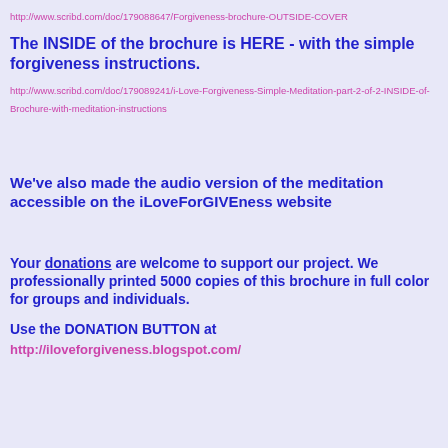http://www.scribd.com/doc/179088647/Forgiveness-brochure-OUTSIDE-COVER
The INSIDE of the brochure is HERE - with the simple forgiveness instructions.
http://www.scribd.com/doc/179089241/i-Love-Forgiveness-Simple-Meditation-part-2-of-2-INSIDE-of-Brochure-with-meditation-instructions
We've also made the audio version of the meditation accessible on the iLoveForGIVEness website
Your donations are welcome to support our project. We professionally printed 5000 copies of this brochure in full color for groups and individuals.
Use the DONATION BUTTON at
http://iloveforgiveness.blogspot.com/